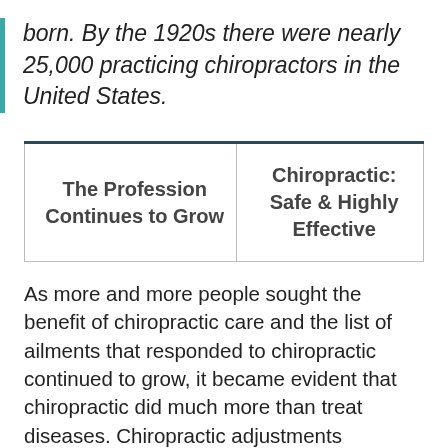born. By the 1920s there were nearly 25,000 practicing chiropractors in the United States.
| The Profession Continues to Grow | Chiropractic: Safe & Highly Effective |
As more and more people sought the benefit of chiropractic care and the list of ailments that responded to chiropractic continued to grow, it became evident that chiropractic did much more than treat diseases. Chiropractic adjustments appeared to assist the body in ways which extended far beyond the